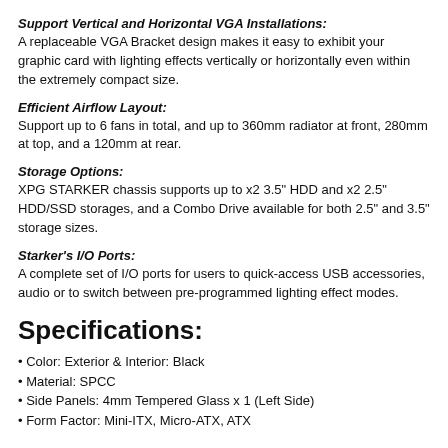Support Vertical and Horizontal VGA Installations:
A replaceable VGA Bracket design makes it easy to exhibit your graphic card with lighting effects vertically or horizontally even within the extremely compact size.
Efficient Airflow Layout:
Support up to 6 fans in total, and up to 360mm radiator at front, 280mm at top, and a 120mm at rear.
Storage Options:
XPG STARKER chassis supports up to x2 3.5" HDD and x2 2.5" HDD/SSD storages, and a Combo Drive available for both 2.5" and 3.5" storage sizes.
Starker's I/O Ports:
A complete set of I/O ports for users to quick-access USB accessories, audio or to switch between pre-programmed lighting effect modes.
Specifications:
• Color: Exterior & Interior: Black
• Material: SPCC
• Side Panels: 4mm Tempered Glass x 1 (Left Side)
• Form Factor: Mini-ITX, Micro-ATX, ATX